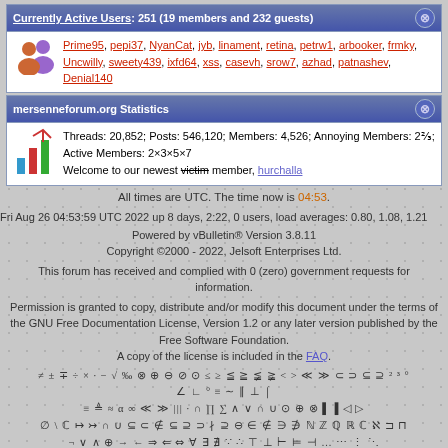Currently Active Users: 251 (19 members and 232 guests)
Prime95, pepi37, NyanCat, jyb, linament, retina, petrw1, arbooker, frmky, Uncwilly, sweety439, ixfd64, xss, casevh, srow7, azhad, patnashev, Denial140
mersenneforum.org Statistics
Threads: 20,852; Posts: 546,120; Members: 4,526; Annoying Members: 2⅔; Active Members: 2×3×5×7
Welcome to our newest victim member, hurchalla
All times are UTC. The time now is 04:53.
Fri Aug 26 04:53:59 UTC 2022 up 8 days, 2:22, 0 users, load averages: 0.80, 1.08, 1.21
Powered by vBulletin® Version 3.8.11
Copyright ©2000 - 2022, Jelsoft Enterprises Ltd.
This forum has received and complied with 0 (zero) government requests for information.
Permission is granted to copy, distribute and/or modify this document under the terms of the GNU Free Documentation License, Version 1.2 or any later version published by the Free Software Foundation.
A copy of the license is included in the FAQ.
≠ ± ∓ ÷ × · − √ ‰ ⊗ ⊕ ⊖ ⊘ ⊙ ≤ ≥ ≦ ≧ ≨ ≩ < > ≪ ≫ ⊂ ⊃ ⊆ ⊇ ² ³ °